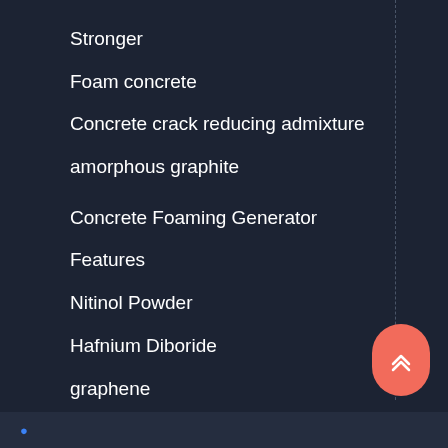Stronger
Foam concrete
Concrete crack reducing admixture
amorphous graphite
Concrete Foaming Generator
Features
Nitinol Powder
Hafnium Diboride
graphene
Hollow Glass Beads
concrete defoamer